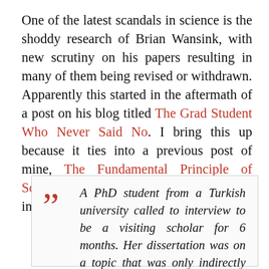One of the latest scandals in science is the shoddy research of Brian Wansink, with new scrutiny on his papers resulting in many of them being revised or withdrawn. Apparently this started in the aftermath of a post on his blog titled The Grad Student Who Never Said No. I bring this up because it ties into a previous post of mine, The Fundamental Principle of Science. But the entire blog post is very interesting so let's look at it.
A PhD student from a Turkish university called to interview to be a visiting scholar for 6 months. Her dissertation was on a topic that was only indirectly related to...